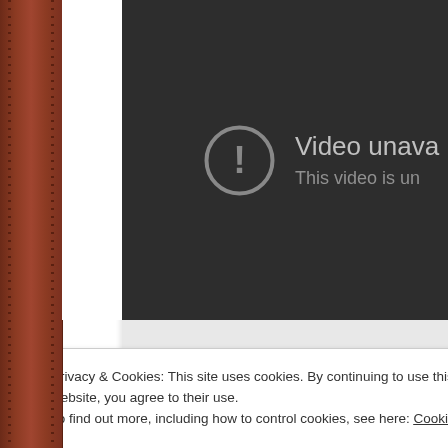[Figure (screenshot): A screenshot of a webpage showing a YouTube-style 'Video unavailable' error message on a dark background player area, with a leather-texture sidebar on the left, a white page strip, and a cookie consent banner overlaid at the bottom reading 'Privacy & Cookies: This site uses cookies. By continuing to use this website, you agree to their use. To find out more, including how to control cookies, see here: Cookie Policy' with a 'Close and accept' button.]